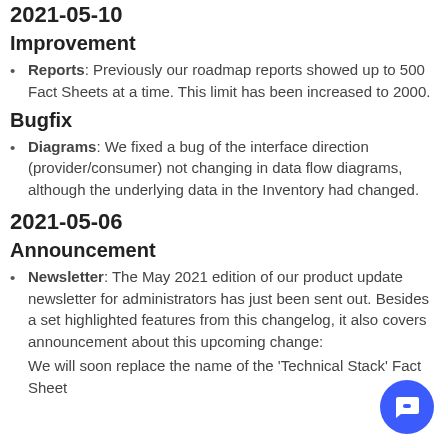2021-05-10
Improvement
Reports: Previously our roadmap reports showed up to 500 Fact Sheets at a time. This limit has been increased to 2000.
Bugfix
Diagrams: We fixed a bug of the interface direction (provider/consumer) not changing in data flow diagrams, although the underlying data in the Inventory had changed.
2021-05-06
Announcement
Newsletter: The May 2021 edition of our product update newsletter for administrators has just been sent out. Besides a set highlighted features from this changelog, it also covers announcement about this upcoming change:
We will soon replace the name of the 'Technical Stack' Fact Sheet